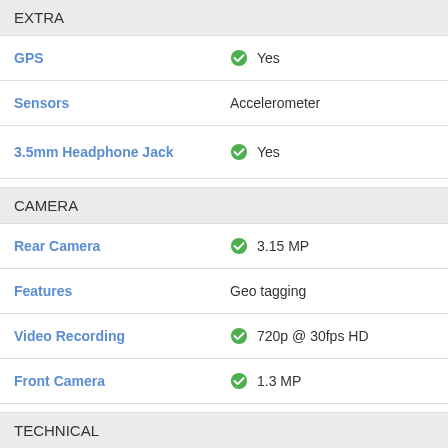EXTRA
| Feature | Value |
| --- | --- |
| GPS | ✔ Yes |
| Sensors | Accelerometer |
| 3.5mm Headphone Jack | ✔ Yes |
CAMERA
| Feature | Value |
| --- | --- |
| Rear Camera | ✔ 3.15 MP |
| Features | Geo tagging |
| Video Recording | ✔ 720p @ 30fps HD |
| Front Camera | ✔ 1.3 MP |
TECHNICAL
| Feature | Value |
| --- | --- |
| OS | Android v4.4.2 (KitKat) |
| CPU | 1.2 GHz, Quad Core Processor |
| Java | ✔ Yes, via 3rd party |
| Browser | ✔ Yes, supports HTML |
MULTIMEDIA